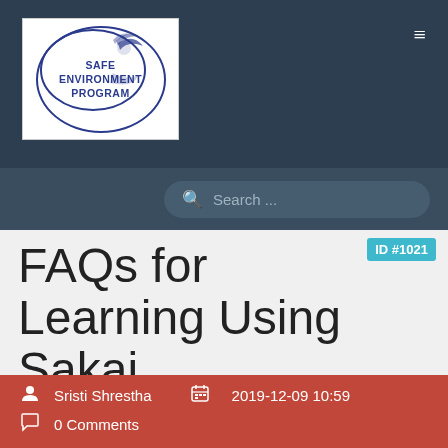[Figure (logo): Safe Environment Program logo — oval-shaped emblem with bird/eagle motif and text in dark blue]
FAQs for Learning Using Sakai
ID #1021
Sristi Shrestha   2019-12-09 10:59
0 Comments